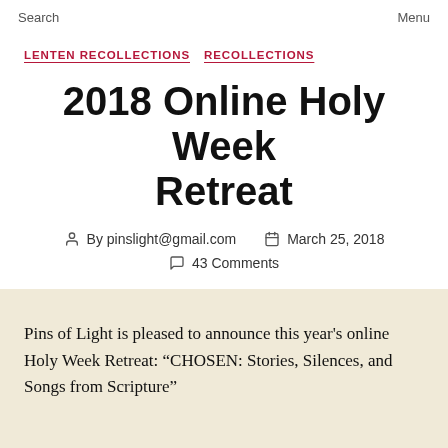Search    Menu
LENTEN RECOLLECTIONS    RECOLLECTIONS
2018 Online Holy Week Retreat
By pinslight@gmail.com    March 25, 2018    43 Comments
Pins of Light is pleased to announce this year's online Holy Week Retreat: “CHOSEN: Stories, Silences, and Songs from Scripture”